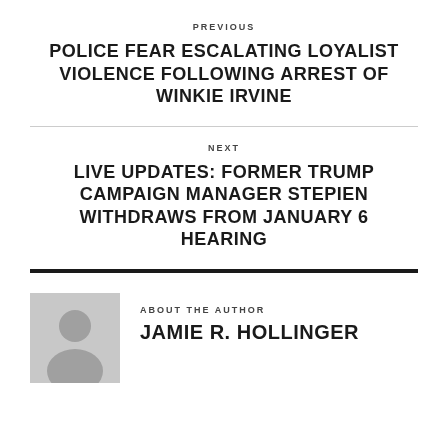PREVIOUS
POLICE FEAR ESCALATING LOYALIST VIOLENCE FOLLOWING ARREST OF WINKIE IRVINE
NEXT
LIVE UPDATES: FORMER TRUMP CAMPAIGN MANAGER STEPIEN WITHDRAWS FROM JANUARY 6 HEARING
ABOUT THE AUTHOR
JAMIE R. HOLLINGER
[Figure (illustration): Generic author avatar placeholder: grey square with silhouette of a person]